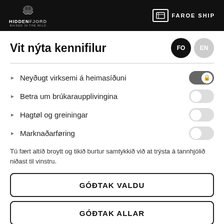HIDDENFJORD – RAISED IN THE WILD | FAROE SHIP
Vit nýta kennifilur
Neyðugt virksemi á heimasíðuni
Betra um brúkaraupplivingina
Hagtøl og greiningar
Marknaðarføring
Tú fært altíð broytt og tikið burtur samtykkið við at trýsta á tannhjólið niðast til vinstru.
GÓÐTAK VALDU
GÓÐTAK ALLAR
? LES MEIRA  COOKIE.fo